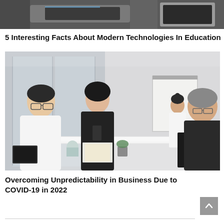[Figure (photo): Partial top-cropped photo showing what appears to be a laptop or technology device on a desk, dimly lit background]
5 Interesting Facts About Modern Technologies In Education
[Figure (photo): Business meeting photo: three people seated at a white conference table, a woman in black clothing stands at a whiteboard in the background writing, modern glass-walled office, natural light]
Overcoming Unpredictability in Business Due to COVID-19 in 2022